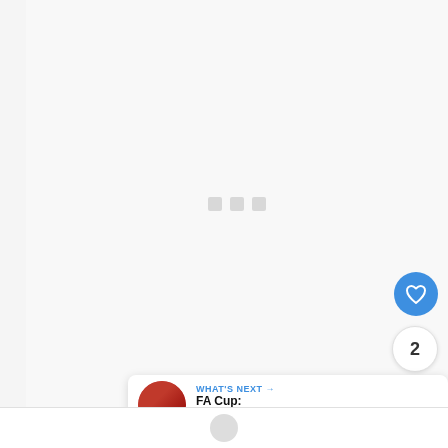[Figure (screenshot): Loading screen with three small gray square dots centered on a light gray background]
[Figure (infographic): Blue circular heart/like button]
2
[Figure (infographic): Blue circular share button]
[Figure (screenshot): What's Next card with thumbnail and text: WHAT'S NEXT → FA Cup: Winners By...]